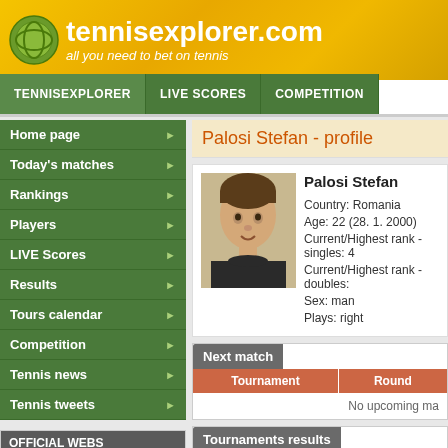[Figure (logo): TennisExplorer.com logo with tennis ball icon and tagline 'all you need to bet on tennis']
TENNISEXPLORER | LIVE SCORES | COMPETITION
Home page
Today's matches
Rankings
Players
LIVE Scores
Results
Tours calendar
Competition
Tennis news
Tennis tweets
OFFICIAL WEBS
Montreal
San Marino chall.
Chicago challenger
Meerbusch chall.
Toronto WTA
Palosi Stefan - profile
[Figure (photo): Headshot photo of Palosi Stefan, young male tennis player]
Palosi Stefan
Country: Romania
Age: 22 (28. 1. 2000)
Current/Highest rank - singles: 4
Current/Highest rank - doubles:
Sex: man
Plays: right
Next match
| Tournament | Round |
| --- | --- |
| No upcoming ma |  |
Tournaments results
Type in tournament name